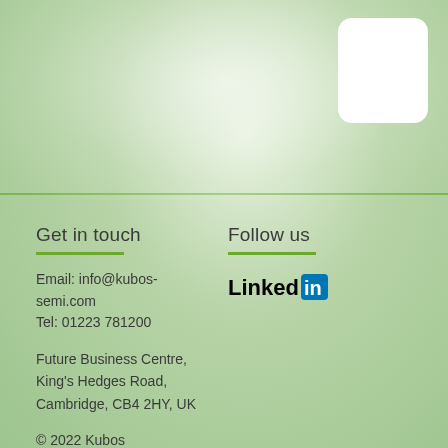[Figure (illustration): White rounded rectangle box in top-right corner of green gradient background]
Get in touch
Email: info@kubos-semi.com
Tel: 01223 781200
Future Business Centre,
King's Hedges Road,
Cambridge, CB4 2HY, UK
© 2022 Kubos Semiconductors Limited
Follow us
[Figure (logo): LinkedIn logo - text 'Linked' in bold black followed by 'in' in white on blue square background]